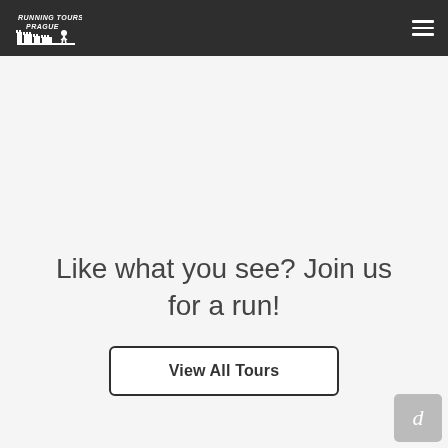Running Tours Prague
Like what you see? Join us for a run!
View All Tours
[Figure (logo): Small 'd' badge icon in bottom-right corner]